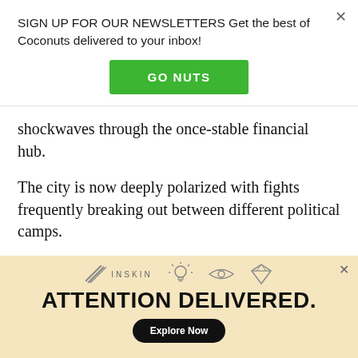SIGN UP FOR OUR NEWSLETTERS Get the best of Coconuts delivered to your inbox!
GO NUTS
shockwaves through the once-stable financial hub.
The city is now deeply polarized with fights frequently breaking out between different political camps.
Under a deal signed with Britain ahead of the city's 1997 handover to China, Hong Kong is allowed to keep its unique freedoms for 50 years.
[Figure (screenshot): Inskin advertisement with icons (lightbulb, eye, diamond) and headline ATTENTION DELIVERED. with Explore Now button on a tan/cream background.]